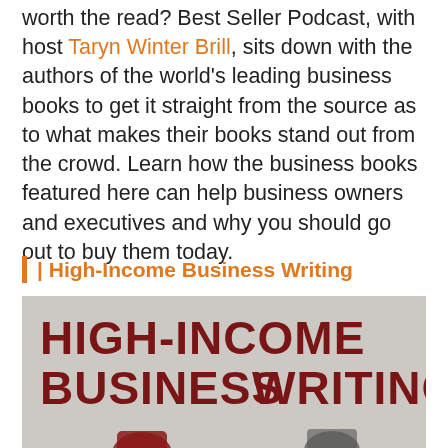worth the read? Best Seller Podcast, with host Taryn Winter Brill, sits down with the authors of the world's leading business books to get it straight from the source as to what makes their books stand out from the crowd. Learn how the business books featured here can help business owners and executives and why you should go out to buy them today.
| High-Income Business Writing
[Figure (photo): Book cover of High-Income Business Writing showing the title in large dark red uppercase bold text on a gray background, with partial figures of people at the bottom]